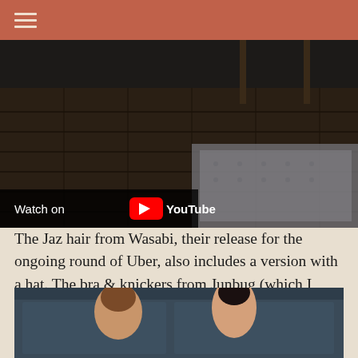≡ (hamburger menu)
[Figure (screenshot): YouTube embedded video showing a 3D virtual room scene with wooden floor and patterned rug, with 'Watch on YouTube' overlay bar at bottom left]
The Jaz hair from Wasabi, their release for the ongoing round of Uber, also includes a version with a hat. The bra & knickers from Junbug (which I picked up at her massive sale) include three versions for the bra and two for the knickers, at varying stages of undress.
[Figure (screenshot): 3D virtual scene showing two female avatars facing each other in front of a dark teal wall, one with brown hair and one with dark hair pulled back]